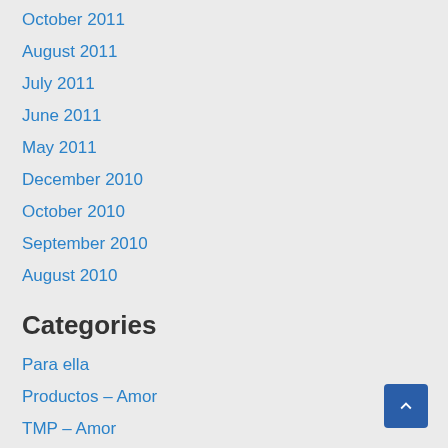October 2011
August 2011
July 2011
June 2011
May 2011
December 2010
October 2010
September 2010
August 2010
Categories
Para ella
Productos – Amor
TMP – Amor
TMP – AMOR – Atr...